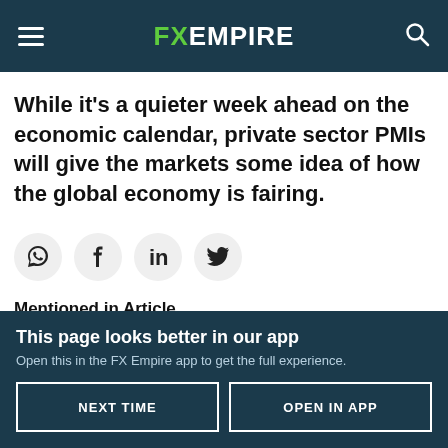FX EMPIRE
While it's a quieter week ahead on the economic calendar, private sector PMIs will give the markets some idea of how the global economy is fairing.
[Figure (infographic): Social share buttons: WhatsApp, Facebook, LinkedIn, Twitter]
Mentioned in Article
| Pair | Change |
| --- | --- |
| EUR/USD | +0.12% |
| GBP/USD | -0.24% |
| USD/CAD | -0.22% |
| AUD/USD | +0.40% |
This page looks better in our app
Open this in the FX Empire app to get the full experience.
NEXT TIME | OPEN IN APP